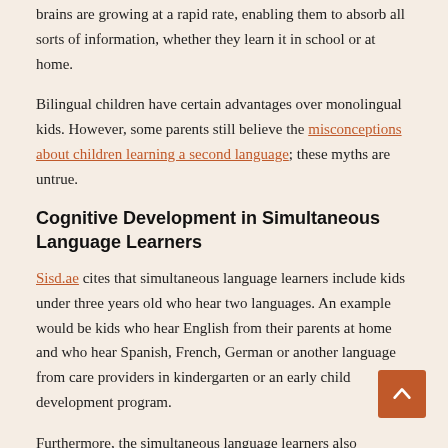brains are growing at a rapid rate, enabling them to absorb all sorts of information, whether they learn it in school or at home.
Bilingual children have certain advantages over monolingual kids. However, some parents still believe the misconceptions about children learning a second language; these myths are untrue.
Cognitive Development in Simultaneous Language Learners
Sisd.ae cites that simultaneous language learners include kids under three years old who hear two languages. An example would be kids who hear English from their parents at home and who hear Spanish, French, German or another language from care providers in kindergarten or an early child development program.
Furthermore, the simultaneous language learners also...